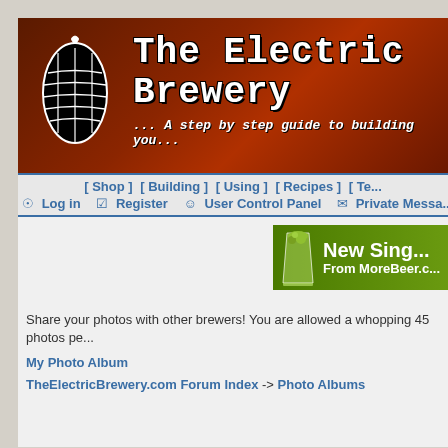[Figure (screenshot): The Electric Brewery website header banner with hop leaf logo and site title]
[ Shop ]  [ Building ]  [ Using ]  [ Recipes ]  [ Te...
Log in  Register  User Control Panel  Private Messa...
[Figure (screenshot): Advertisement banner: New Single From MoreBeer.com with image of beer glass filled with hops]
Share your photos with other brewers! You are allowed a whopping 45 photos pe...
My Photo Album
TheElectricBrewery.com Forum Index -> Photo Albums